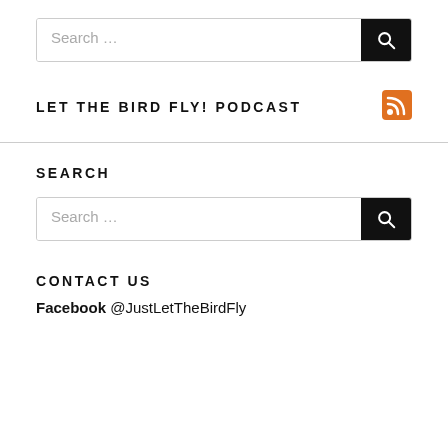[Figure (screenshot): Search box with text 'Search ...' and a black search button with magnifying glass icon]
LET THE BIRD FLY! PODCAST
[Figure (other): RSS feed orange icon]
SEARCH
[Figure (screenshot): Search box with text 'Search ...' and a black search button with magnifying glass icon]
CONTACT US
Facebook   @JustLetTheBirdFly